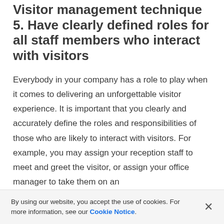Visitor management technique 5. Have clearly defined roles for all staff members who interact with visitors
Everybody in your company has a role to play when it comes to delivering an unforgettable visitor experience. It is important that you clearly and accurately define the roles and responsibilities of those who are likely to interact with visitors. For example, you may assign your reception staff to meet and greet the visitor, or assign your office manager to take them on an
By using our website, you accept the use of cookies. For more information, see our Cookie Notice.